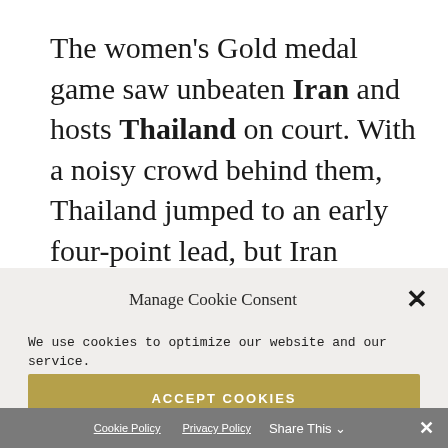The women's Gold medal game saw unbeaten Iran and hosts Thailand on court. With a noisy crowd behind them, Thailand jumped to an early four-point lead, but Iran
Manage Cookie Consent
We use cookies to optimize our website and our service.
ACCEPT COOKIES
DENY
VIEW PREFERENCES
Cookie Policy   Privacy Policy   Share This   ✕